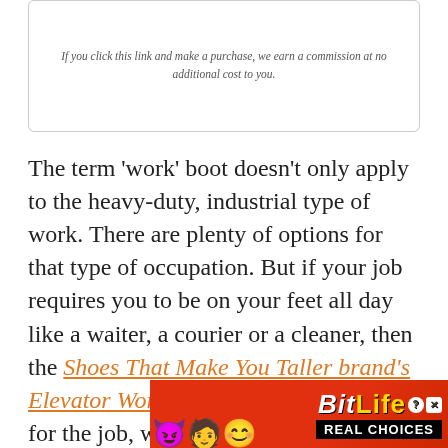If you click this link and make a purchase, we earn a commission at no additional cost to you.
The term ‘work’ boot doesn’t only apply to the heavy-duty, industrial type of work. There are plenty of options for that type of occupation. But if your job requires you to be on your feet all day like a waiter, a courier or a cleaner, then the Shoes That Make You Taller brand’s Elevator Work Boot is the perfect boot for the job, while still giving you that extra lift.
[Figure (other): BitLife Real Choices advertisement banner with emoji characters and orange/red background]